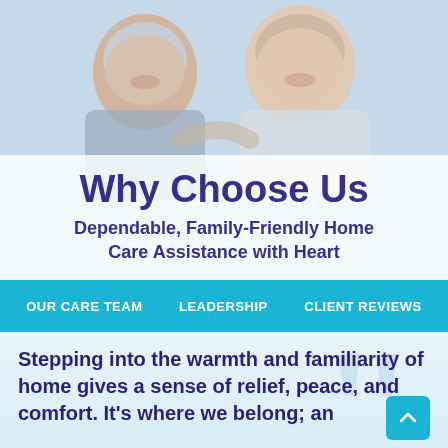[Figure (photo): Two smiling women, an older woman with short grey hair and a younger woman in a white top, posing together against a light background.]
Why Choose Us
Dependable, Family-Friendly Home Care Assistance with Heart
OUR CARE TEAM
LEADERSHIP
CLIENT REVIEWS
Stepping into the warmth and familiarity of home gives a sense of relief, peace, and comfort. It's where we belong; an